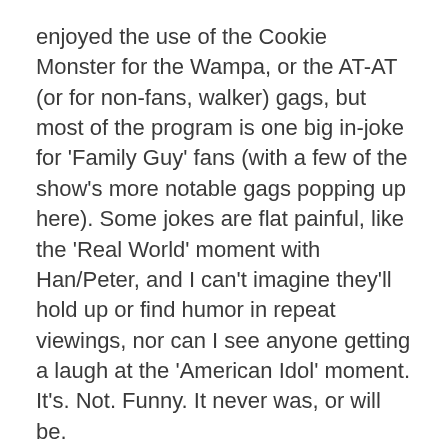enjoyed the use of the Cookie Monster for the Wampa, or the AT-AT (or for non-fans, walker) gags, but most of the program is one big in-joke for 'Family Guy' fans (with a few of the show's more notable gags popping up here). Some jokes are flat painful, like the 'Real World' moment with Han/Peter, and I can't imagine they'll hold up or find humor in repeat viewings, nor can I see anyone getting a laugh at the 'American Idol' moment. It's. Not. Funny. It never was, or will be.
Low blow racism jokes pop up, showing that the high road can never be taken, meanwhile the obvious jokes aren't even touched. The Vader/Luke revelation scene, by far the most famous moment of the entire saga, is wasted, utterly wasted. We're talking about a scene that could have a brutal Oedinal twist